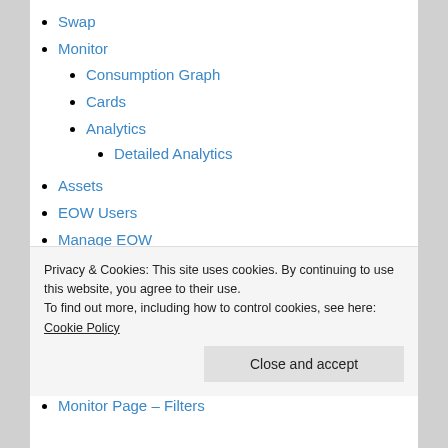Swap
Monitor
Consumption Graph
Cards
Analytics
Detailed Analytics
Assets
EOW Users
Manage EOW
Staff
Customer Accts
Roles
General Settings
Export Fieldsets
Privacy & Cookies: This site uses cookies. By continuing to use this website, you agree to their use.
To find out more, including how to control cookies, see here: Cookie Policy
Monitor Page – Filters